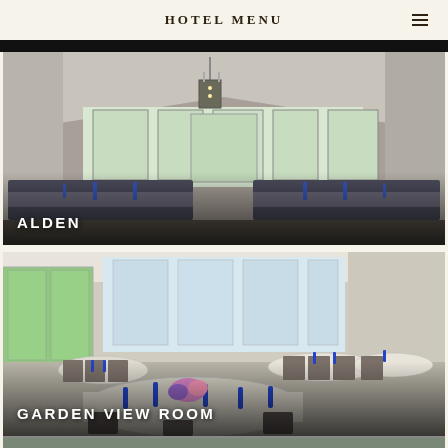HOTEL MENU
[Figure (photo): Interior photo of the Alden room: elegant banquet hall with vaulted ceiling, hanging lantern chandelier, striped banquet seating, and tables with blue bottle water service]
ALDEN
[Figure (photo): Interior photo of the Garden View Room: bright event space with round tables, chairs, blue water bottles, floral centerpieces, and large windows overlooking gardens]
GARDEN VIEW ROOM
[Figure (photo): Partial view of another hotel room at the bottom of the page]